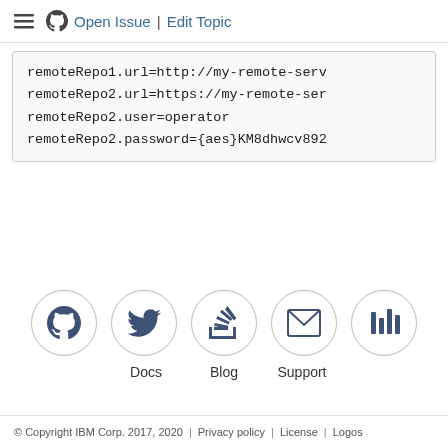Open Issue | Edit Topic
remoteRepo1.url=http://my-remote-serv
remoteRepo2.url=https://my-remote-ser
remoteRepo2.user=operator
remoteRepo2.password={aes}KM8dhwcv892
[Figure (other): Row of five circular icon buttons: GitHub, Twitter, Stack Overflow, Email/envelope, and a bar-graph style icon. Below: labels Docs, Blog, Support under the middle three icons.]
© Copyright IBM Corp. 2017, 2020  |  Privacy policy  |  License  |  Logos